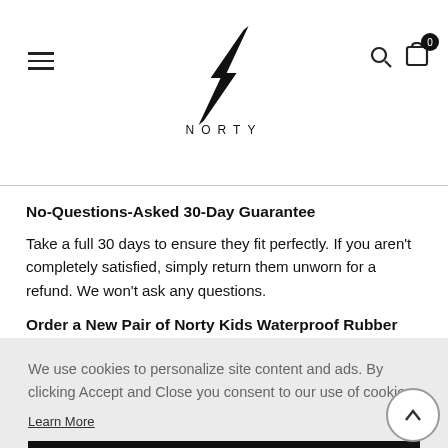NORTY
No-Questions-Asked 30-Day Guarantee
Take a full 30 days to ensure they fit perfectly. If you aren't completely satisfied, simply return them unworn for a refund. We won't ask any questions.
Order a New Pair of Norty Kids Waterproof Rubber Rainboots Today and Let Your Kids Discover How
We use cookies to personalize site content and ads. By clicking Accept and Close you consent to our use of cookies.
Learn More
ACCEPT AND CLOSE